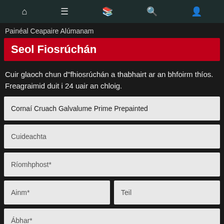🏠  ☰  📋  🔍  👤
Painéal Ceapaire Alúmanam
Seol Fiosrúchán
Cuir glaoch chun d"fhiosrúchán a thabhairt ar an bhfoirm thíos. Freagraimid duit i 24 uair an chloig.
Cornaí Cruach Galvalume Prime Prepainted
Cuideachta
Ríomhphost*
Ainm*
Teil
Ábhar*